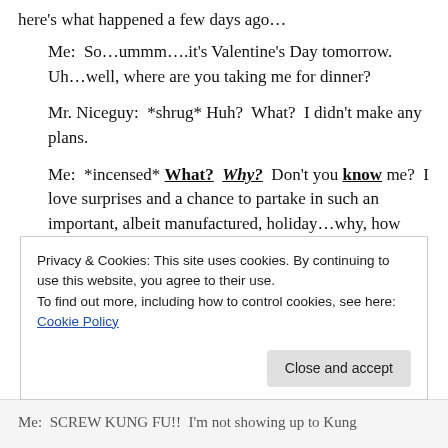here's what happened a few days ago…
Me:  So…ummm….it's Valentine's Day tomorrow.  Uh…well, where are you taking me for dinner?
Mr. Niceguy:  *shrug* Huh?  What?  I didn't make any plans.
Me:  *incensed* What?  Why?  Don't you know me?  I love surprises and a chance to partake in such an important, albeit manufactured, holiday…why, how else will you express how much I mean to you?  (Self-
Privacy & Cookies: This site uses cookies. By continuing to use this website, you agree to their use.
To find out more, including how to control cookies, see here: Cookie Policy
Close and accept
Me:  SCREW KUNG FU!!  I'm not showing up to Kung